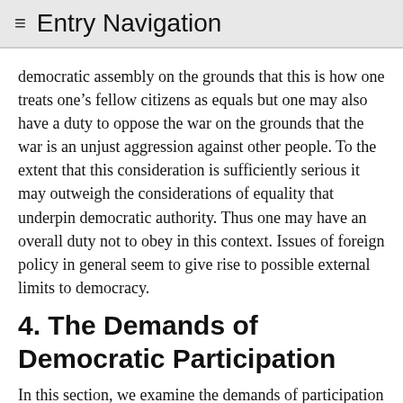≡ Entry Navigation
democratic assembly on the grounds that this is how one treats one's fellow citizens as equals but one may also have a duty to oppose the war on the grounds that the war is an unjust aggression against other people. To the extent that this consideration is sufficiently serious it may outweigh the considerations of equality that underpin democratic authority. Thus one may have an overall duty not to obey in this context. Issues of foreign policy in general seem to give rise to possible external limits to democracy.
4. The Demands of Democratic Participation
In this section, we examine the demands of participation in large-scale democracies. We begin by examining a core challenge to the idea that democratic citizens are capable of governing a large and complex society. We then explore different proposed solutions to the core challenge